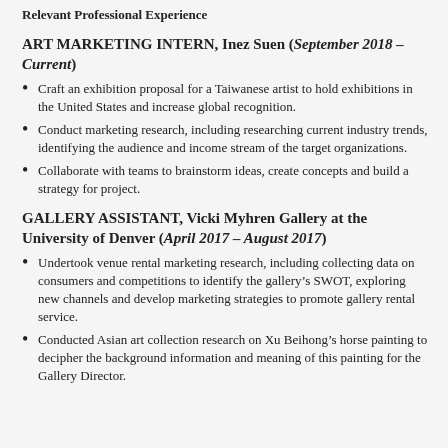Relevant Professional Experience
ART MARKETING INTERN, Inez Suen (September 2018 – Current)
Craft an exhibition proposal for a Taiwanese artist to hold exhibitions in the United States and increase global recognition.
Conduct marketing research, including researching current industry trends, identifying the audience and income stream of the target organizations.
Collaborate with teams to brainstorm ideas, create concepts and build a strategy for project.
GALLERY ASSISTANT, Vicki Myhren Gallery at the University of Denver (April 2017 – August 2017)
Undertook venue rental marketing research, including collecting data on consumers and competitions to identify the gallery's SWOT, exploring new channels and develop marketing strategies to promote gallery rental service.
Conducted Asian art collection research on Xu Beihong's horse painting to decipher the background information and meaning of this painting for the Gallery Director.